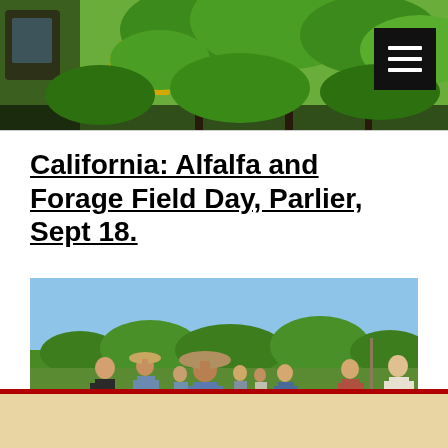[Figure (photo): Top banner photo showing green foliage and trees, partially visible, with a dark navigation menu button in the upper right corner]
California: Alfalfa and Forage Field Day, Parlier, Sept 18.
[Figure (photo): Outdoor field day event showing a group of people gathered in a field listening to a speaker, with crops visible in the background and a clear blue sky. People are wearing hats and casual work clothing.]